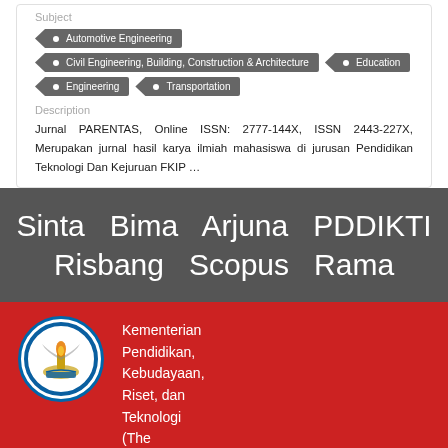Subject
Automotive Engineering
Civil Engineering, Building, Construction & Architecture
Education
Engineering
Transportation
Description
Jurnal PARENTAS, Online ISSN: 2777-144X, ISSN 2443-227X, Merupakan jurnal hasil karya ilmiah mahasiswa di jurusan Pendidikan Teknologi Dan Kejuruan FKIP …
Sinta   Bima   Arjuna   PDDIKTI
Risbang   Scopus   Rama
[Figure (logo): Tut Wuri Handayani emblem - circular logo of Indonesian Ministry of Education with white bird and torch on blue/white background]
Kementerian Pendidikan, Kebudayaan, Riset, dan Teknologi (The